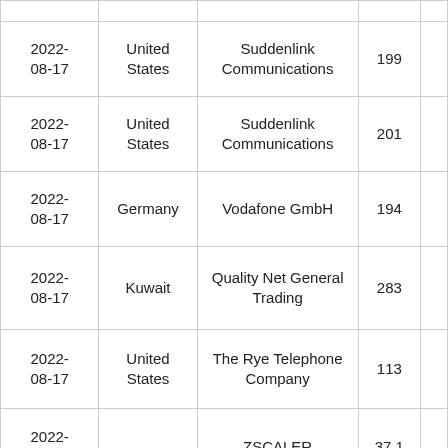| Date | Country | Organization | Value |  |
| --- | --- | --- | --- | --- |
| 2022-08-17 | United States | Suddenlink Communications | 199 |  |
| 2022-08-17 | United States | Suddenlink Communications | 201 |  |
| 2022-08-17 | Germany | Vodafone GmbH | 194 |  |
| 2022-08-17 | Kuwait | Quality Net General Trading | 283 |  |
| 2022-08-17 | United States | The Rye Telephone Company | 113 |  |
| 2022-08-17 |  | ZSCALER | 37.1 |  |
| 2022- | Netherlands | GTT Communications Inc. | 234 |  |